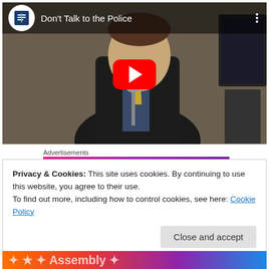[Figure (screenshot): YouTube video thumbnail showing a young man in a dark suit speaking at a podium, with a YouTube play button overlay. Video title is "Don't Talk to the Police". A channel logo (blue book icon) is shown in the top-left corner.]
Advertisements
Privacy & Cookies: This site uses cookies. By continuing to use this website, you agree to their use.
To find out more, including how to control cookies, see here: Cookie Policy
Close and accept